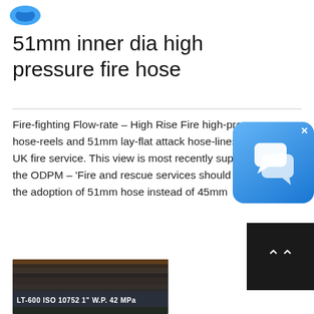[Figure (logo): Blue logo icon in top left corner]
51mm inner dia high pressure fire hose
Fire-fighting Flow-rate – High Rise Fire high-pressure hose-reels and 51mm lay-flat attack hose-lines UK fire service. This view is most recently supported by the ODPM – 'Fire and rescue services should consider the adoption of 51mm hose instead of 45mm
[Figure (photo): Close-up photo of a high pressure fire hose with text LT-600 ISO 10762 1" W.P. 42 MPa visible on the hose surface]